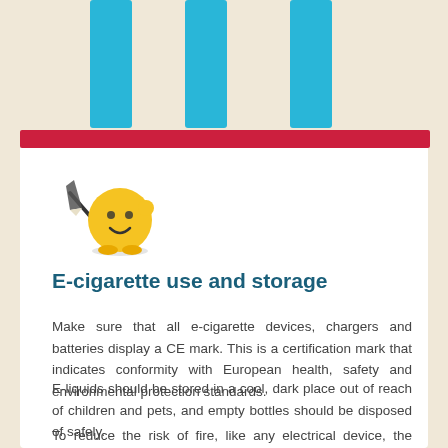[Figure (illustration): Top section with beige background showing three blue vertical rectangular shapes (like fence posts or fingers) on a beige/cream background, with a dark red/crimson horizontal bar at the bottom of the illustration area.]
[Figure (illustration): A yellow smiling character mascot holding a dark pencil/pen, with small feet, on a white card background.]
E-cigarette use and storage
Make sure that all e-cigarette devices, chargers and batteries display a CE mark. This is a certification mark that indicates conformity with European health, safety and environmental protection standards.
E-liquids should be stored in a cool, dark place out of reach of children and pets, and empty bottles should be disposed of safely.
To reduce the risk of fire, like any electrical device, the correct charger for the device should always be used and e-cigarettes should not be left charging unattended